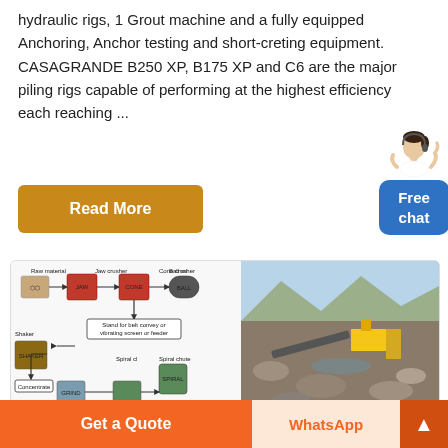hydraulic rigs, 1 Grout machine and a fully equipped Anchoring, Anchor testing and short-creting equipment. CASAGRANDE B250 XP, B175 XP and C6 are the major piling rigs capable of performing at the highest efficiency each reaching ...
Read More
[Figure (illustration): Widget showing a person with a speech bubble and a blue 'Free chat' button in the top right corner of the page]
[Figure (infographic): Side-by-side image card: left side shows a mining/mineral processing flow diagram (Raw material → Jaw crusher → Cone crusher → Ball mill → Spiral classifier; Shaker → Concentrate; Spiral chute), right side shows a photo of an open-pit mining/quarry site with heavy machinery and rock piles.]
Get a Quote
WhatsApp